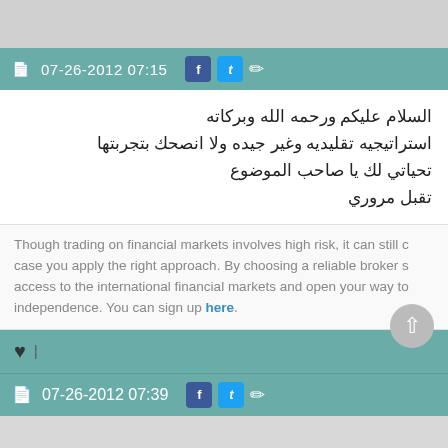07-26-2012 07:15
السلام عليكم ورحمه الله وبركاته
استراتيجيه تقليديه وغير جيده ولا انصحك بتجربتها
تحياتي لك يا صاحب الموضوع
تقبل مروري
Though trading on financial markets involves high risk, it can still be in case you apply the right approach. By choosing a reliable broker s access to the international financial markets and open your way to independence. You can sign up here.
07-26-2012 07:39